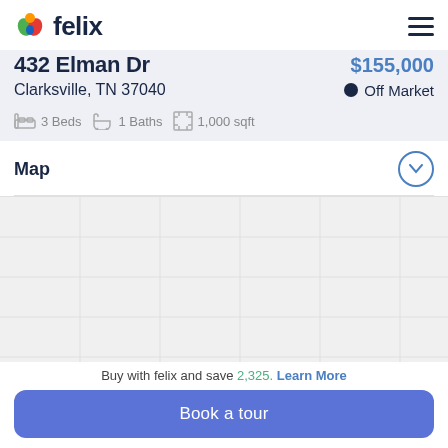felix
432 Elman Dr
$155,000
Clarksville, TN 37040
Off Market
3 Beds   1 Baths   1,000 sqft
Map
[Figure (map): Map area for 432 Elman Dr, Clarksville TN 37040 — blank/loading map placeholder]
Buy with felix and save 2,325. Learn More
Book a tour